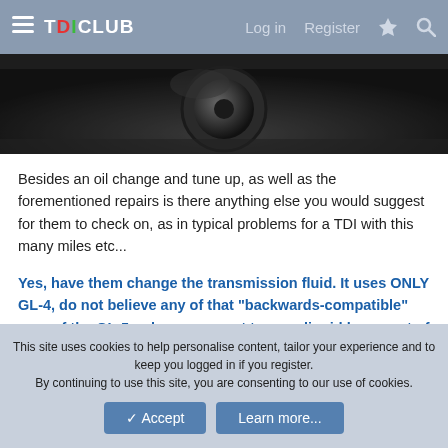TDICLUB  Log in  Register
[Figure (photo): Close-up photo of a dark mechanical component, appears to be an automotive part such as a pulley or belt assembly, dark and greasy.]
Besides an oil change and tune up, as well as the forementioned repairs is there anything else you would suggest for them to check on, as in typical problems for a TDI with this many miles etc...
Yes, have them change the transmission fluid. It uses ONLY GL-4, do not believe any of that "backwards-compatible" crap of the GL-5 unless you want to pour liquid brass out of your transmission. You might want to open the ECU and have a look at the hose inside, it's known for developing a split and causing something called 'limp mode', where
This site uses cookies to help personalise content, tailor your experience and to keep you logged in if you register.
By continuing to use this site, you are consenting to our use of cookies.